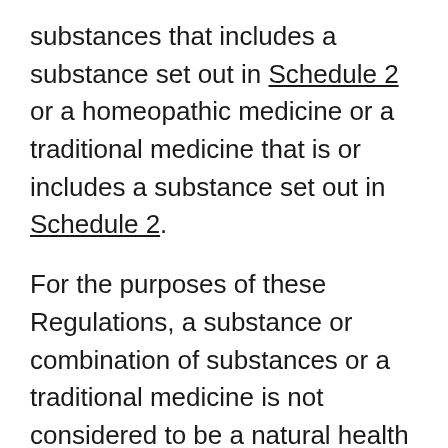substances that includes a substance set out in Schedule 2 or a homeopathic medicine or a traditional medicine that is or includes a substance set out in Schedule 2.
For the purposes of these Regulations, a substance or combination of substances or a traditional medicine is not considered to be a natural health product if its sale, under the Food and Drug Regulations, is required to be pursuant to a prescription when it is sold other than in accordance with section C.01.043 of those Regulations.
Sell - includes offer for sale, expose for sale,